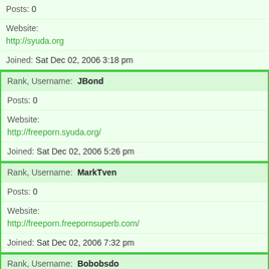Posts: 0
Website: http://syuda.org
Joined: Sat Dec 02, 2006 3:18 pm
Rank, Username: JBond
Posts: 0
Website: http://freeporn.syuda.org/
Joined: Sat Dec 02, 2006 5:26 pm
Rank, Username: MarkTven
Posts: 0
Website: http://freeporn.freepornsuperb.com/
Joined: Sat Dec 02, 2006 7:32 pm
Rank, Username: Bobobsdo
Posts: 0
Website: http://pornotubee.blogspot.com/
Joined: Sun Dec 03, 2006 9:50 am
Rank, Username: digittts
Posts: 0